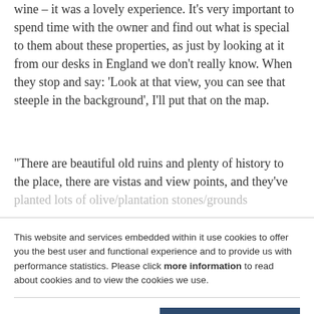wine – it was a lovely experience. It's very important to spend time with the owner and find out what is special to them about these properties, as just by looking at it from our desks in England we don't really know. When they stop and say: 'Look at that view, you can see that steeple in the background', I'll put that on the map.
“There are beautiful old ruins and plenty of history to the place, there are vistas and view points, and they've planted lots of olive/plantation/around grounds...
This website and services embedded within it use cookies to offer you the best user and functional experience and to provide us with performance statistics. Please click more information to read about cookies and to view the cookies we use.
More information
Block cookies
ACCEPT + CLOSE